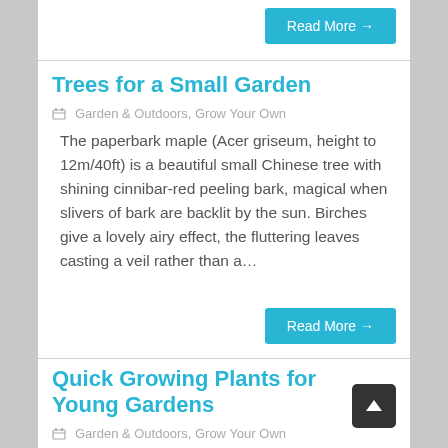Read More →
Trees for a Small Garden
Garden & Outdoors, Grow Your Own
The paperbark maple (Acer griseum, height to 12m/40ft) is a beautiful small Chinese tree with shining cinnibar-red peeling bark, magical when slivers of bark are backlit by the sun. Birches give a lovely airy effect, the fluttering leaves casting a veil rather than a…
Read More →
Quick Growing Plants for Young Gardens
Garden & Outdoors, Grow Your Own